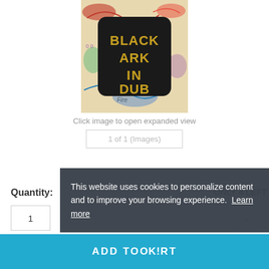[Figure (photo): Album cover for 'Black Ark In Dub' — black rounded-square logo with gold bold text reading BLACK ARK IN DUB, overlaid on a colorful graffiti/street art background]
Click image to open expanded view
1 of 1 (Images)
Quantity:
ONLY 4 LEFT
1
This website uses cookies to personalize content and to improve your browsing experience.  Learn more
ADD TO CART
OK!